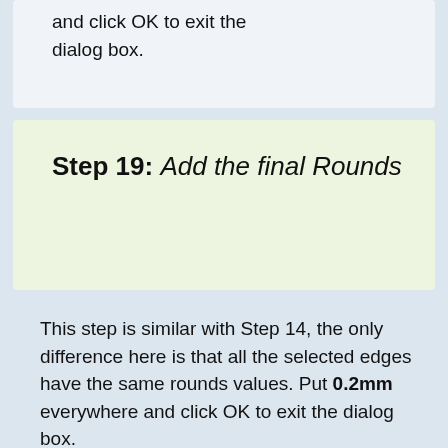and click OK to exit the dialog box.
Step 19: Add the final Rounds
This step is similar with Step 14, the only difference here is that all the selected edges have the same rounds values. Put 0.2mm everywhere and click OK to exit the dialog box.